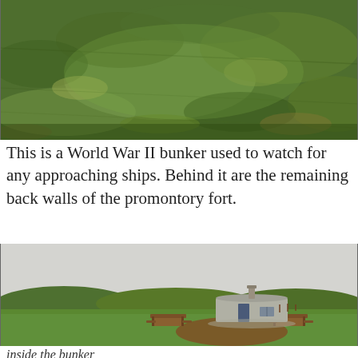[Figure (photo): Aerial/ground-level photo of a grassy hillside, heavily green with patches of lighter grass, showing a turf-covered earthwork or mound.]
This is a World War II bunker used to watch for any approaching ships. Behind it are the remaining back walls of the promontory fort.
[Figure (photo): Photograph of a small concrete World War II bunker building with a chimney stack and dark door, set in a green grassy field. Two wooden picnic tables are visible on either side. Rolling green hills and earthworks are in the background under an overcast sky. A small mound of earth is in the foreground.]
inside the bunker